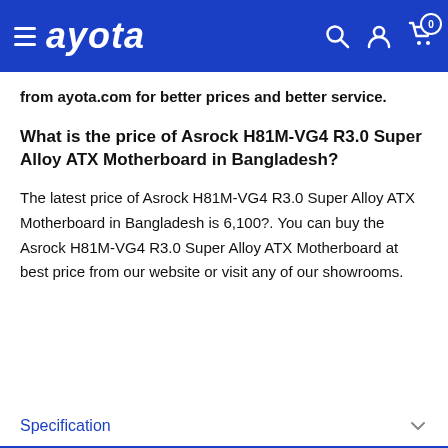ayota
from ayota.com for better prices and better service.
What is the price of Asrock H81M-VG4 R3.0 Super Alloy ATX Motherboard in Bangladesh?
The latest price of Asrock H81M-VG4 R3.0 Super Alloy ATX Motherboard in Bangladesh is 6,100?. You can buy the Asrock H81M-VG4 R3.0 Super Alloy ATX Motherboard at best price from our website or visit any of our showrooms.
Specification